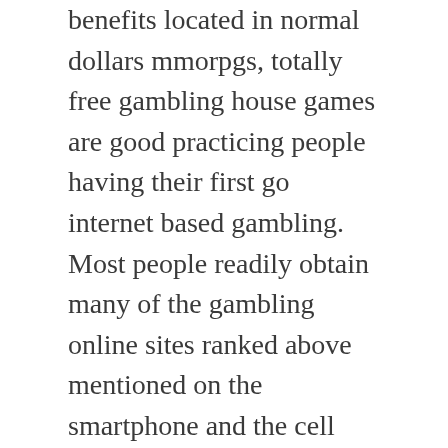benefits located in normal dollars mmorpgs, totally free gambling house games are good practicing people having their first go internet based gambling. Most people readily obtain many of the gambling online sites ranked above mentioned on the smartphone and the cell model from this web page is normally conveniently rendered.
It extremely appropriately will probably end up free cash also totally free playing house traits that can be added for the online game playing attention as soon as you work with plus costless have a good time online world gambling house in the places you get an entirely no cost novice's